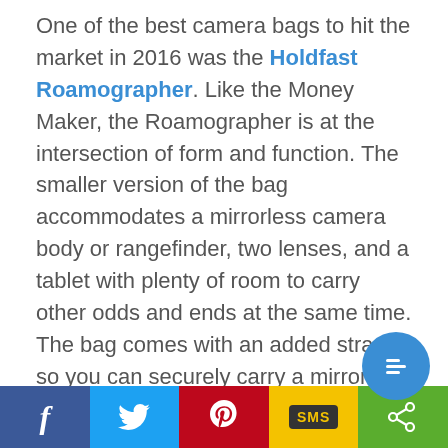One of the best camera bags to hit the market in 2016 was the Holdfast Roamographer. Like the Money Maker, the Roamographer is at the intersection of form and function. The smaller version of the bag accommodates a mirrorless camera body or rangefinder, two lenses, and a tablet with plenty of room to carry other odds and ends at the same time. The bag comes with an added strap so you can securely carry a mirrorless camera and lens for quick access when a photo opportunity arises.

But the Roamographer offers so much more than that. With adjustable carrier straps, you can secure your tripod to the bag for easy carrying between shoots. With the included luggage
[Figure (other): Social sharing bar with Facebook, Twitter, Pinterest, SMS, and Share buttons at the bottom of the page. A circular blue share button floats above the bar on the right side.]